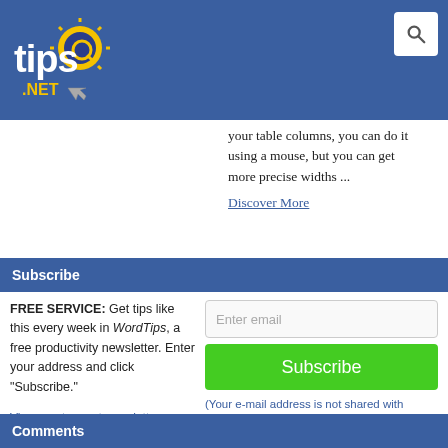tips.net
your table columns, you can do it using a mouse, but you can get more precise widths ...
Discover More
Subscribe
FREE SERVICE: Get tips like this every week in WordTips, a free productivity newsletter. Enter your address and click "Subscribe."
View most recent newsletter.
(Your e-mail address is not shared with anyone, ever.)
Comments